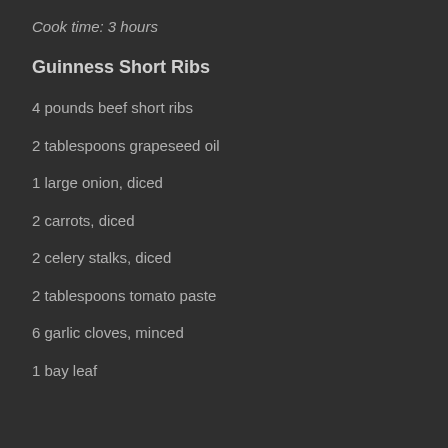Cook time: 3 hours
Guinness Short Ribs
4 pounds beef short ribs
2 tablespoons grapeseed oil
1 large onion, diced
2 carrots, diced
2 celery stalks, diced
2 tablespoons tomato paste
6 garlic cloves, minced
1 bay leaf